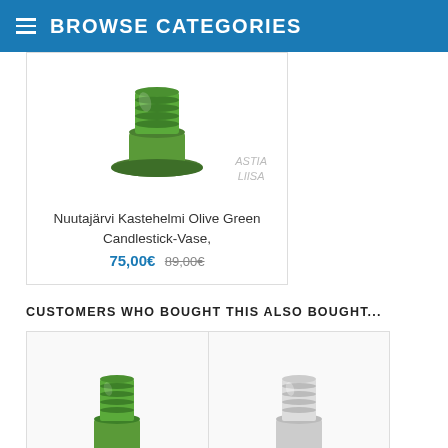BROWSE CATEGORIES
[Figure (photo): Nuutajärvi Kastehelmi Olive Green Candlestick-Vase product photo with Astia Liisa watermark]
Nuutajärvi Kastehelmi Olive Green Candlestick-Vase,
75,00€ 89,00€
CUSTOMERS WHO BOUGHT THIS ALSO BOUGHT...
[Figure (photo): Nuutajärvi Kastehelmi Gr... product photo]
[Figure (photo): Nuutajärvi Kastehelmi Cl... product photo]
Nuutajärvi Kastehelmi Gr...
Nuutajärvi Kastehelmi Cl...